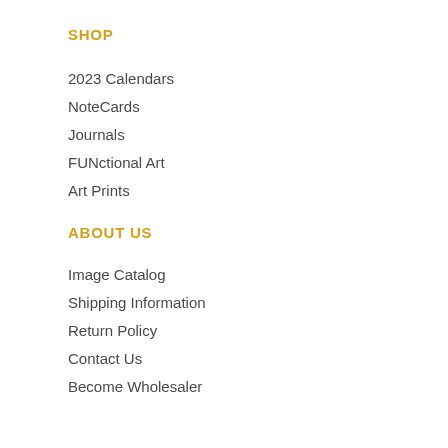SHOP
2023 Calendars
NoteCards
Journals
FUNctional Art
Art Prints
ABOUT US
Image Catalog
Shipping Information
Return Policy
Contact Us
Become Wholesaler
SIGNUP FOR COUPONS & UPDATES
email address
Subscribe